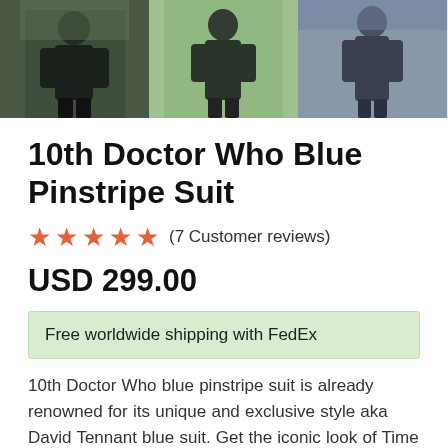[Figure (photo): Three thumbnail photos of a man wearing the 10th Doctor Who Blue Pinstripe Suit in different poses outdoors]
10th Doctor Who Blue Pinstripe Suit
★★★★★ (7 Customer reviews)
USD 299.00
Free worldwide shipping with FedEx
10th Doctor Who blue pinstripe suit is already renowned for its unique and exclusive style aka David Tennant blue suit. Get the iconic look of Time Lord in this carefully constructed Tardis blue suit from year-round woven cotton. Handcrafted Doctor Who blue suit with clean lines and a well-